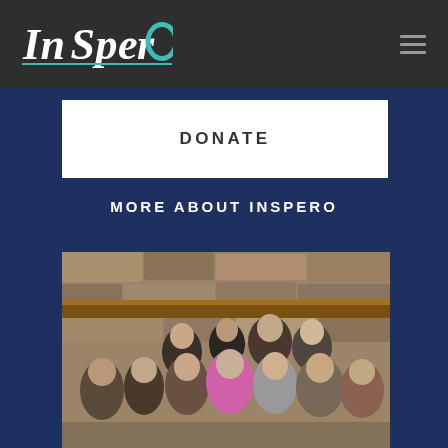InSpero
DONATE
MORE ABOUT INSPERO
[Figure (photo): Group photo of approximately 15–17 people standing together in front of a stone wall fireplace with a wooden beam mantel]